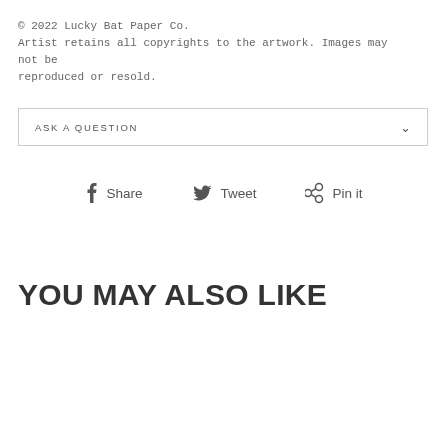© 2022 Lucky Bat Paper Co.
Artist retains all copyrights to the artwork. Images may not be reproduced or resold.
ASK A QUESTION
Share  Tweet  Pin it
YOU MAY ALSO LIKE